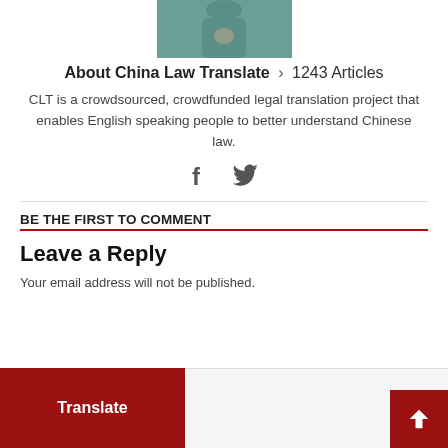[Figure (photo): Partial photo of a person in a teal/green jacket, cropped at the top of the page]
About China Law Translate > 1243 Articles
CLT is a crowdsourced, crowdfunded legal translation project that enables English speaking people to better understand Chinese law.
[Figure (other): Social media icons: Facebook (f) and Twitter (bird)]
BE THE FIRST TO COMMENT
Leave a Reply
Your email address will not be published.
Translate